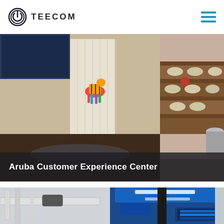TEECOM
[Figure (photo): Interior photo of Aruba Customer Experience Center showing a colorful animal sculpture on a wood floor, white paneled wall, and on the right side wooden stadium-style steps with round cushions and a ball]
Aruba Customer Experience Center
[Figure (photo): Interior photo showing exposed ceiling with white ductwork, hanging black speaker, blue accent lighting panels, and a large video display wall in the background]